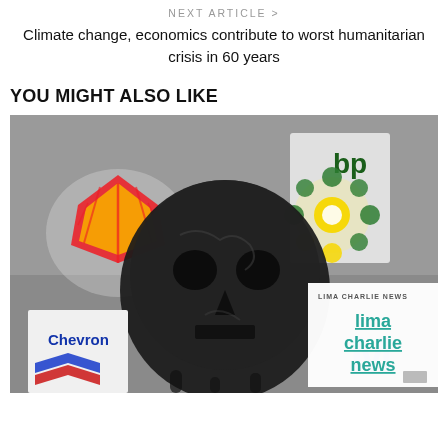NEXT ARTICLE >
Climate change, economics contribute to worst humanitarian crisis in 60 years
YOU MIGHT ALSO LIKE
[Figure (photo): Illustration showing oil company logos (Shell, BP, Chevron, Mobile) surrounding a dark skull-shaped globe, with a Lima Charlie News overlay card on the right side reading 'lima charlie news']